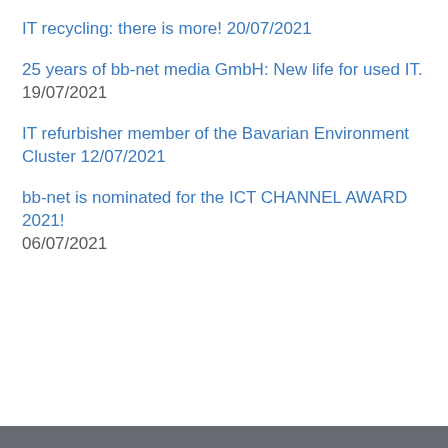IT recycling: there is more! 20/07/2021
25 years of bb-net media GmbH: New life for used IT. 19/07/2021
IT refurbisher member of the Bavarian Environment Cluster 12/07/2021
bb-net is nominated for the ICT CHANNEL AWARD 2021! 06/07/2021